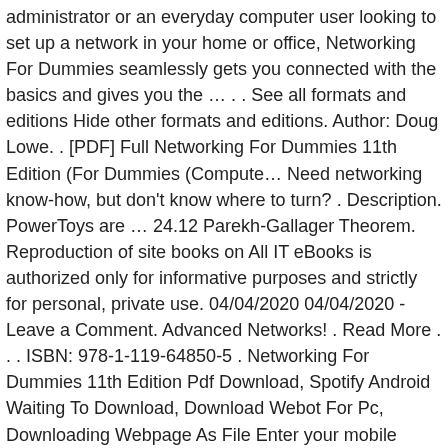administrator or an everyday computer user looking to set up a network in your home or office, Networking For Dummies seamlessly gets you connected with the basics and gives you the … . . See all formats and editions Hide other formats and editions. Author: Doug Lowe. . [PDF] Full Networking For Dummies 11th Edition (For Dummies (Compute… Need networking know-how, but don't know where to turn? . Description. PowerToys are … 24.12 Parekh-Gallager Theorem. Reproduction of site books on All IT eBooks is authorized only for informative purposes and strictly for personal, private use. 04/04/2020 04/04/2020 - Leave a Comment. Advanced Networks! . Read More . . . ISBN: 978-1-119-64850-5 . Networking For Dummies 11th Edition Pdf Download, Spotify Android Waiting To Download, Download Webot For Pc, Downloading Webpage As File Enter your mobile number or email address below and we'll send you a link to download the free Kindle App. Download Product Flyer is to download PDF in new tab. Networking For Dummies, 12th Edition. . . Get … Released May